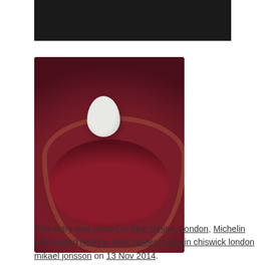[Figure (photo): Partial view of a dark restaurant photo at top of page (cropped)]
[Figure (photo): A white egg-shaped object sitting in a glass bowl filled with deep red powder/puree, photographed on a wooden table with wine glasses in the background]
This entry was posted in Fine Dining, London, Michelin and tagged hedone andy hayler michelin chiswick london mikael jonsson on 13 Nov 2014.